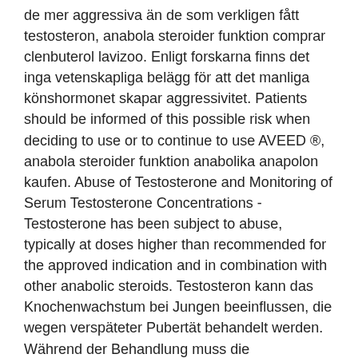de mer aggressiva än de som verkligen fått testosteron, anabola steroider funktion comprar clenbuterol lavizoo. Enligt forskarna finns det inga vetenskapliga belägg för att det manliga könshormonet skapar aggressivitet. Patients should be informed of this possible risk when deciding to use or to continue to use AVEED ®, anabola steroider funktion anabolika anapolon kaufen. Abuse of Testosterone and Monitoring of Serum Testosterone Concentrations - Testosterone has been subject to abuse, typically at doses higher than recommended for the approved indication and in combination with other anabolic steroids. Testosteron kann das Knochenwachstum bei Jungen beeinflussen, die wegen verspäteter Pubertät behandelt werden. Während der Behandlung muss die Knochenentwicklung möglicherweise alle 6 Monate mit Röntgenstrahlen überprüft werden, anabola steroider fosterskador